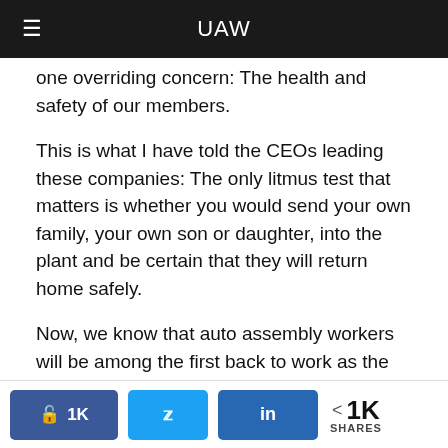UAW
one overriding concern: The health and safety of our members.
This is what I have told the CEOs leading these companies: The only litmus test that matters is whether you would send your own family, your own son or daughter, into the plant and be certain that they will return home safely.
Now, we know that auto assembly workers will be among the first back to work as the economy emerges. So we are in deep discussions with all three companies and all of our sectors to plan ahead to ensure the implementation of Centers for Disease Control and Prevention (CDC) safety standards and utilization of all available technologies
1K  1K  in  < 1K SHARES